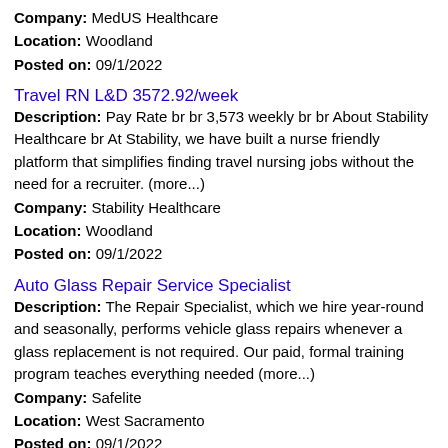Company: MedUS Healthcare
Location: Woodland
Posted on: 09/1/2022
Travel RN L&D 3572.92/week
Description: Pay Rate br br 3,573 weekly br br About Stability Healthcare br At Stability, we have built a nurse friendly platform that simplifies finding travel nursing jobs without the need for a recruiter. (more...)
Company: Stability Healthcare
Location: Woodland
Posted on: 09/1/2022
Auto Glass Repair Service Specialist
Description: The Repair Specialist, which we hire year-round and seasonally, performs vehicle glass repairs whenever a glass replacement is not required. Our paid, formal training program teaches everything needed (more...)
Company: Safelite
Location: West Sacramento
Posted on: 09/1/2022